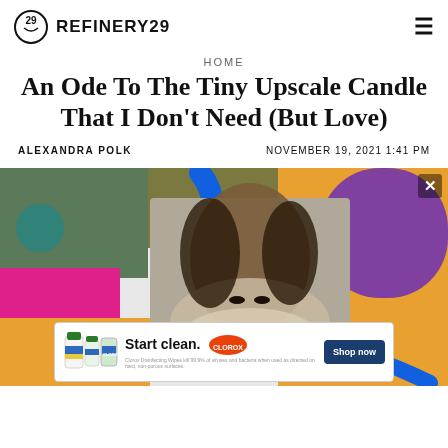REFINERY29
HOME
An Ode To The Tiny Upscale Candle That I Don't Need (But Love)
ALEXANDRA POLK   NOVEMBER 19, 2021 1:41 PM
[Figure (photo): Hero image with colorful graphic background and a woman lying down looking at camera, with a Clorox advertisement banner overlaid at the bottom]
Start clean. CLOROX — Shop now. Clorox Disinfecting Wipes kill 99.9% of viruses and bacteria when used as directed on hard, non-porous surfaces.